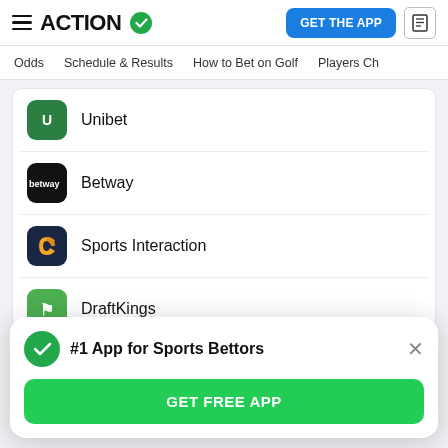ACTION (app logo with checkmark)
Odds | Schedule & Results | How to Bet on Golf | Players Ch
Unibet
Betway
Sports Interaction
DraftKings
Sports Betting Calculators
#1 App for Sports Bettors
GET FREE APP